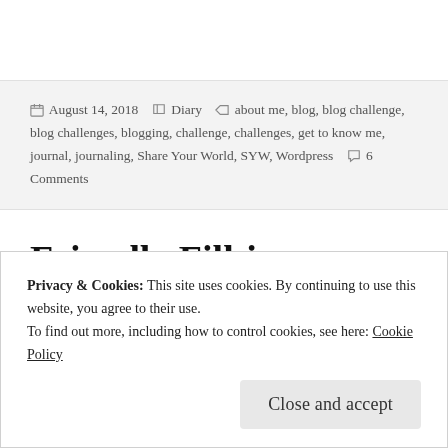August 14, 2018  Diary  about me, blog, blog challenge, blog challenges, blogging, challenge, challenges, get to know me, journal, journaling, Share Your World, SYW, Wordpress  6 Comments
Friendly Fill-ins.
I'm participating in Friendly Fill-ins, hosted by
Privacy & Cookies: This site uses cookies. By continuing to use this website, you agree to their use. To find out more, including how to control cookies, see here: Cookie Policy
Close and accept